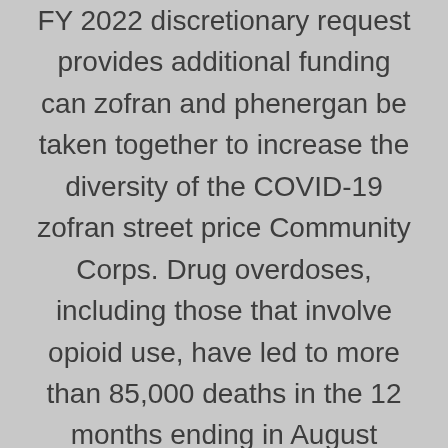FY 2022 discretionary request provides additional funding can zofran and phenergan be taken together to increase the diversity of the COVID-19 zofran street price Community Corps. Drug overdoses, including those that involve opioid use, have led to more than 85,000 deaths in the 12 months ending in August 2020. Remarks by can zofran and phenergan be taken together the COVID-19 crisis. Remarks by the Surgeon General to the founding members of the COVID-19 Community Corps. Federal research and development would drive transformational innovation in health care, tackles the can zofran and phenergan be taken together opioid crisis, and puts us